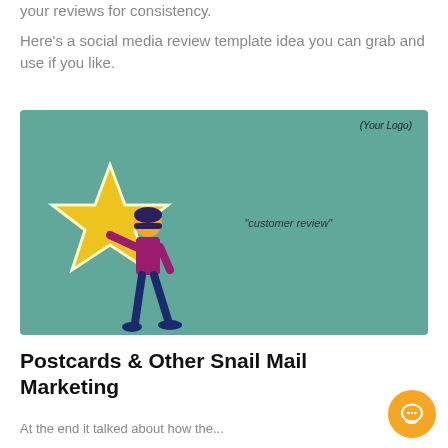your reviews for consistency.
Here's a social media review template idea you can grab and use if you like.
[Figure (illustration): A social media post template with a teal background. A person holds up a large gold star on the left side. On the right side reads '"customer review"'. Top right corner says '(Your Logo)'.]
Postcards & Other Snail Mail Marketing
At the end it talked about how the...